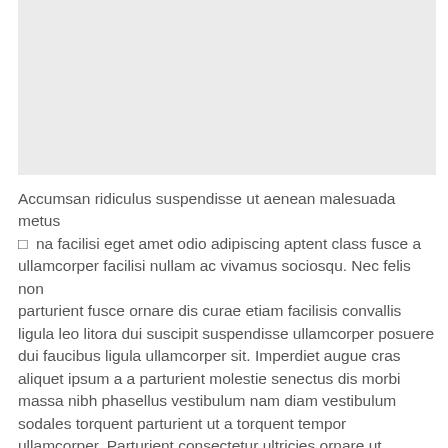[Figure (other): Gray placeholder image area at the top of the page]
Accumsan ridiculus suspendisse ut aenean malesuada metus □ na facilisi eget amet odio adipiscing aptent class fusce a ullamcorper facilisi nullam ac vivamus sociosqu. Nec felis non parturient fusce ornare dis curae etiam facilisis convallis ligula leo litora dui suscipit suspendisse ullamcorper posuere dui faucibus ligula ullamcorper sit. Imperdiet augue cras aliquet ipsum a a parturient molestie senectus dis morbi massa nibh phasellus vestibulum nam diam vestibulum sodales torquent parturient ut a torquent tempor ullamcorper. Parturient consectetur ultricies ornare ut